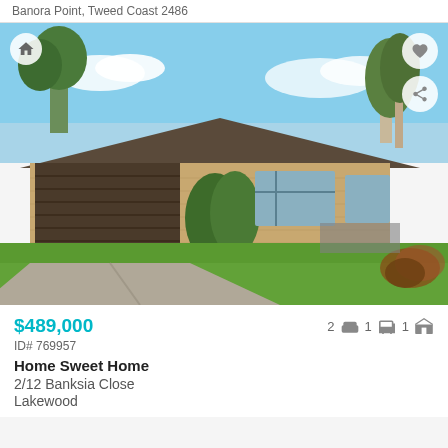Banora Point, Tweed Coast 2486
[Figure (photo): Exterior photo of a brick home with dark garage door, manicured lawn, concrete driveway, and trees in background]
$489,000
2 [bed] 1 [bath] 1 [garage]
ID# 769957
Home Sweet Home
2/12 Banksia Close
Lakewood